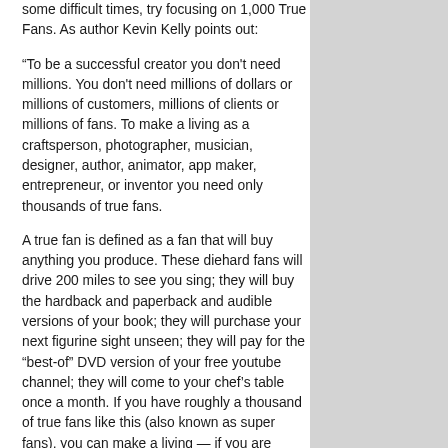some difficult times, try focusing on 1,000 True Fans. As author Kevin Kelly points out:
“To be a successful creator you don't need millions. You don't need millions of dollars or millions of customers, millions of clients or millions of fans. To make a living as a craftsperson, photographer, musician, designer, author, animator, app maker, entrepreneur, or inventor you need only thousands of true fans.
A true fan is defined as a fan that will buy anything you produce. These diehard fans will drive 200 miles to see you sing; they will buy the hardback and paperback and audible versions of your book; they will purchase your next figurine sight unseen; they will pay for the “best-of” DVD version of your free youtube channel; they will come to your chef’s table once a month. If you have roughly a thousand of true fans like this (also known as super fans), you can make a living — if you are content to make a living but not a fortune.” - Kevin Kelly